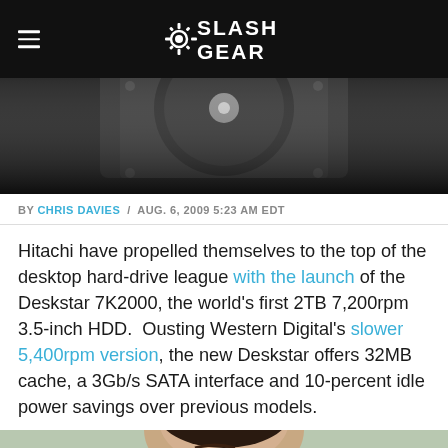SlashGear
[Figure (photo): Top-down view of a hard disk drive (HDD), dark background]
BY CHRIS DAVIES / AUG. 6, 2009 5:23 AM EDT
Hitachi have propelled themselves to the top of the desktop hard-drive league with the launch of the Deskstar 7K2000, the world's first 2TB 7,200rpm 3.5-inch HDD. Ousting Western Digital's slower 5,400rpm version, the new Deskstar offers 32MB cache, a 3Gb/s SATA interface and 10-percent idle power savings over previous models.
[Figure (photo): Partial photo of a person's head/face, cropped at bottom of page]